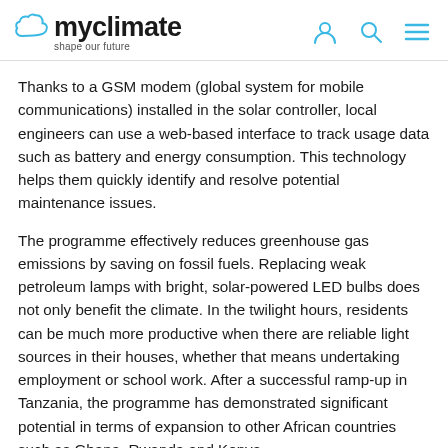myclimate – shape our future
Thanks to a GSM modem (global system for mobile communications) installed in the solar controller, local engineers can use a web-based interface to track usage data such as battery and energy consumption. This technology helps them quickly identify and resolve potential maintenance issues.
The programme effectively reduces greenhouse gas emissions by saving on fossil fuels. Replacing weak petroleum lamps with bright, solar-powered LED bulbs does not only benefit the climate. In the twilight hours, residents can be much more productive when there are reliable light sources in their houses, whether that means undertaking employment or school work. After a successful ramp-up in Tanzania, the programme has demonstrated significant potential in terms of expansion to other African countries such as Ghana, Rwanda and Kenya.